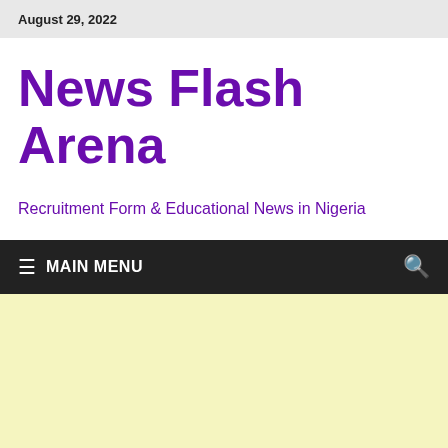August 29, 2022
News Flash Arena
Recruitment Form & Educational News in Nigeria
≡  MAIN MENU
[Figure (other): Light yellow/cream blank content area placeholder]